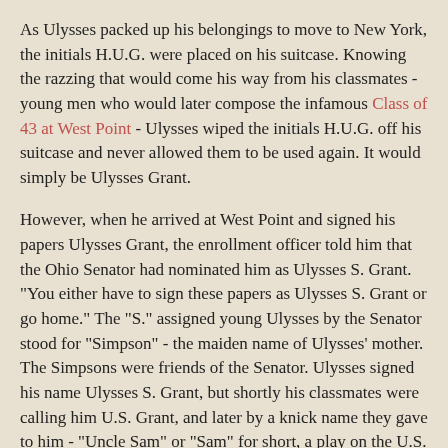As Ulysses packed up his belongings to move to New York, the initials H.U.G. were placed on his suitcase. Knowing the razzing that would come his way from his classmates - young men who would later compose the infamous Class of 43 at West Point - Ulysses wiped the initials H.U.G. off his suitcase and never allowed them to be used again. It would simply be Ulysses Grant.
However, when he arrived at West Point and signed his papers Ulysses Grant, the enrollment officer told him that the Ohio Senator had nominated him as Ulysses S. Grant. "You either have to sign these papers as Ulysses S. Grant or go home." The "S." assigned young Ulysses by the Senator stood for "Simpson" - the maiden name of Ulysses' mother. The Simpsons were friends of the Senator. Ulysses signed his name Ulysses S. Grant, but shortly his classmates were calling him U.S. Grant, and later by a knick name they gave to him - "Uncle Sam" or "Sam" for short, a play on the U.S. in Grant's name.
The name U.S. Grant and the nickname "Sam" both stuck.